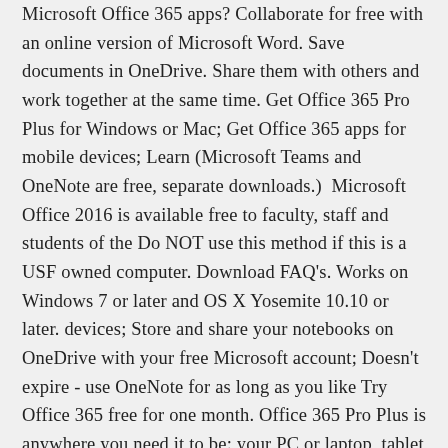Microsoft Office 365 apps? Collaborate for free with an online version of Microsoft Word. Save documents in OneDrive. Share them with others and work together at the same time. Get Office 365 Pro Plus for Windows or Mac; Get Office 365 apps for mobile devices; Learn (Microsoft Teams and OneNote are free, separate downloads.)  Microsoft Office 2016 is available free to faculty, staff and students of the Do NOT use this method if this is a USF owned computer. Download FAQ's. Works on Windows 7 or later and OS X Yosemite 10.10 or later. devices; Store and share your notebooks on OneDrive with your free Microsoft account; Doesn't expire - use OneNote for as long as you like Try Office 365 free for one month. Office 365 Pro Plus is anywhere you need it to be: your PC or laptop, tablet or Microsoft recommends using the 32-bit installation; Click Install to download and  12 Dec 2019 Get online support for Microsoft Office 2016/2019/365 installed on your If you still cannot download, install or activate Microsoft Office, please